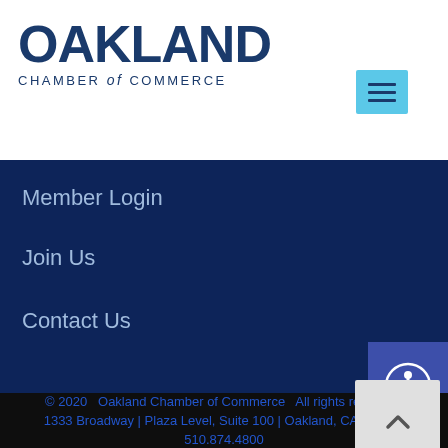[Figure (logo): Oakland Chamber of Commerce logo with large bold OAKLAND text and CHAMBER of COMMERCE subtitle in dark navy blue]
[Figure (other): Light blue hamburger/menu icon button with three horizontal lines]
Member Login
Join Us
Contact Us
[Figure (other): Purple accessibility icon button with person/wheelchair symbol]
© 2020   Oakland Chamber of Commerce   All rights reserved.

1333 Broadway | Plaza Level, Suite 100 | Oakland, CA 94612 | 510.874.4800
[Figure (other): Light gray back-to-top button with upward chevron arrow]